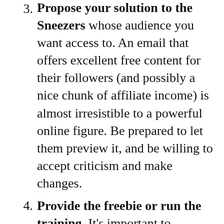3. Propose your solution to the Sneezers whose audience you want access to. An email that offers excellent free content for their followers (and possibly a nice chunk of affiliate income) is almost irresistible to a powerful online figure. Be prepared to let them preview it, and be willing to accept criticism and make changes.
4. Provide the freebie or run the training. It's important to schedule this at a time when you are going to be available to answer questions, provide support, and generally get involved with